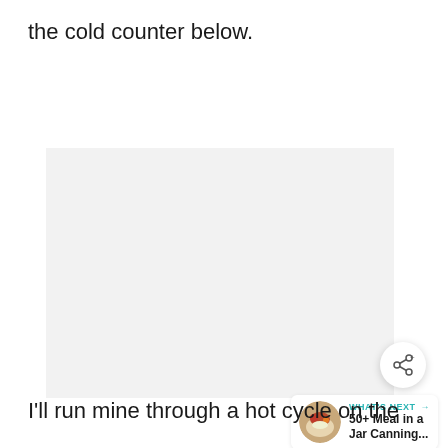the cold counter below.
[Figure (other): Advertisement placeholder box with light gray background and three loading dots in the center]
[Figure (other): Share button: circular white button with share/plus icon]
[Figure (other): What's Next widget showing a food image thumbnail and text '50+ Meal in a Jar Canning...']
I'll run mine through a hot cycle on the